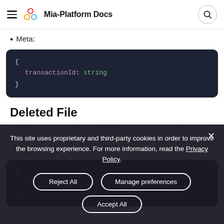Mia-Platform Docs
Meta:
[Figure (screenshot): Code block showing JSON-like schema: { transactionId: string }]
Deleted File
notifies that a given file was deleted, carries a transaction ID to rollback
Payload:
[Figure (screenshot): Code block partially visible, showing { key: string, ... }]
This site uses proprietary and third-party cookies in order to improve the browsing experience. For more information, read the Privacy Policy.